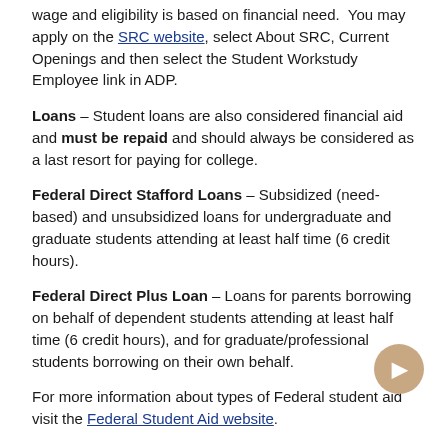wage and eligibility is based on financial need. You may apply on the SRC website, select About SRC, Current Openings and then select the Student Workstudy Employee link in ADP.
Loans – Student loans are also considered financial aid and must be repaid and should always be considered as a last resort for paying for college.
Federal Direct Stafford Loans – Subsidized (need-based) and unsubsidized loans for undergraduate and graduate students attending at least half time (6 credit hours).
Federal Direct Plus Loan – Loans for parents borrowing on behalf of dependent students attending at least half time (6 credit hours), and for graduate/professional students borrowing on their own behalf.
For more information about types of Federal student aid visit the Federal Student Aid website.
Types of Federal Student